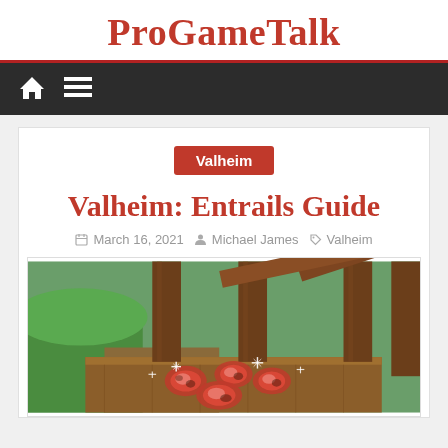ProGameTalk
Home | Menu navigation bar
Valheim (category badge)
Valheim: Entrails Guide
March 16, 2021  Michael James  Valheim
[Figure (screenshot): In-game screenshot from Valheim showing entrails (raw meat items) on a wooden table/surface, with wooden pillars and green terrain visible in the background. Sparkle effects surround the items.]